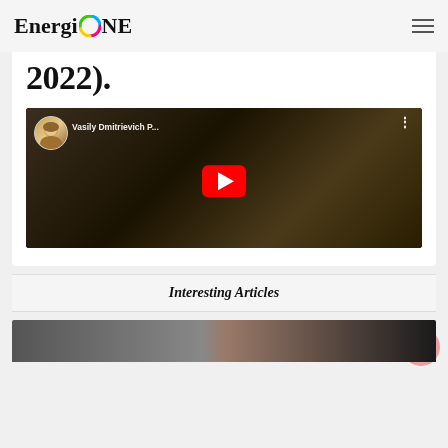EnergioNE
2022).
[Figure (screenshot): YouTube video thumbnail showing 'Vasily Dmitrievich P...' with a dark forest background and a red play button in the center]
Interesting Articles
[Figure (photo): Bottom partial photo showing a dark image, partially cropped]